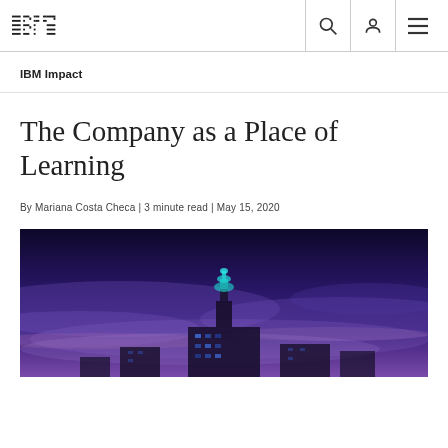IBM logo, search icon, user icon, menu icon
IBM Impact
The Company as a Place of Learning
By Mariana Costa Checa | 3 minute read | May 15, 2020
[Figure (photo): Night cityscape with illuminated building/tower against a dramatic purple-blue sky with clouds]